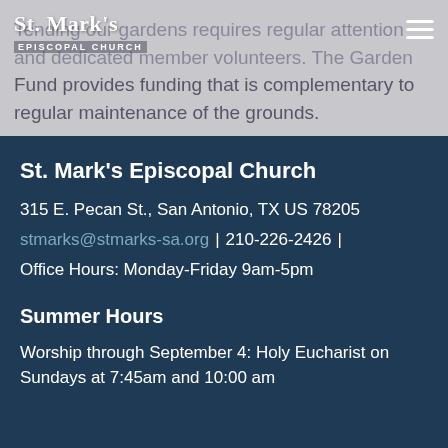St. Mark's Episcopal Church
Tending our gardens requires regular attention and dedicated member volunteers. The Garden Fund provides funding that is complementary to regular maintenance of the grounds.
St. Mark's Episcopal Church
315 E. Pecan St., San Antonio, TX US 78205
stmarks@stmarks-sa.org  |  210-226-2426  |
Office Hours: Monday-Friday 9am-5pm
Summer Hours
Worship through September 4: Holy Eucharist on Sundays at 7:45am and 10:00 am